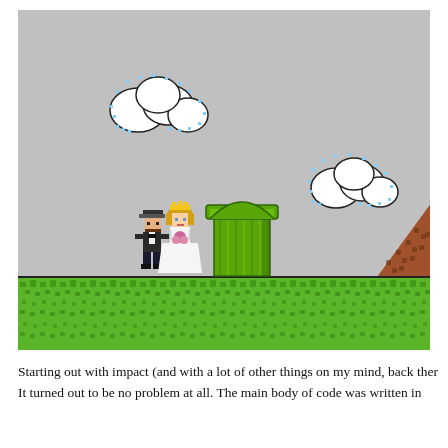[Figure (screenshot): Super Mario World style pixel-art game screenshot showing Mario in a tuxedo and Princess Peach in a wedding dress standing near a green warp pipe on a grassy ground level, with two pixel-art clouds in a light gray sky and a brown hill on the right side.]
Starting out with impact (and with a lot of other things on my mind, back ther
It turned out to be no problem at all. The main body of code was written in